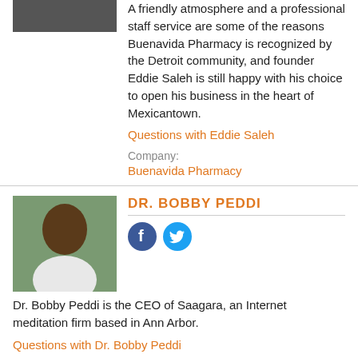A friendly atmosphere and a professional staff service are some of the reasons Buenavida Pharmacy is recognized by the Detroit community, and founder Eddie Saleh is still happy with his choice to open his business in the heart of Mexicantown.
Questions with Eddie Saleh
Company:
Buenavida Pharmacy
DR. BOBBY PEDDI
[Figure (illustration): Social media icons: Facebook and Twitter circular buttons]
Dr. Bobby Peddi is the CEO of Saagara, an Internet meditation firm based in Ann Arbor.
Questions with Dr. Bobby Peddi
Company:
Saagara
LOVENIA LEWIS